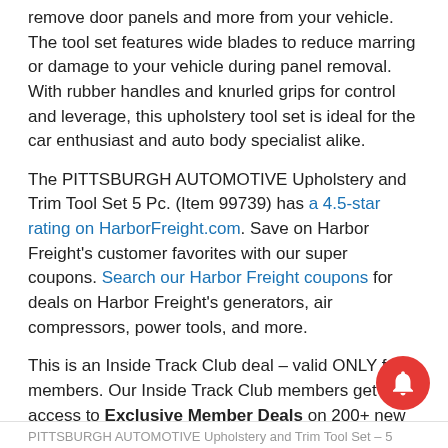remove door panels and more from your vehicle. The tool set features wide blades to reduce marring or damage to your vehicle during panel removal. With rubber handles and knurled grips for control and leverage, this upholstery tool set is ideal for the car enthusiast and auto body specialist alike.
The PITTSBURGH AUTOMOTIVE Upholstery and Trim Tool Set 5 Pc. (Item 99739) has a 4.5-star rating on HarborFreight.com. Save on Harbor Freight's customer favorites with our super coupons. Search our Harbor Freight coupons for deals on Harbor Freight's generators, air compressors, power tools, and more.
This is an Inside Track Club deal – valid ONLY for members. Our Inside Track Club members get access to Exclusive Member Deals on 200+ new items monthly. Look for the blue tags in-store or view online. When you're ready to join, click here to join Inside Track Club.
PITTSBURGH AUTOMOTIVE Upholstery and Trim Tool Set – 5